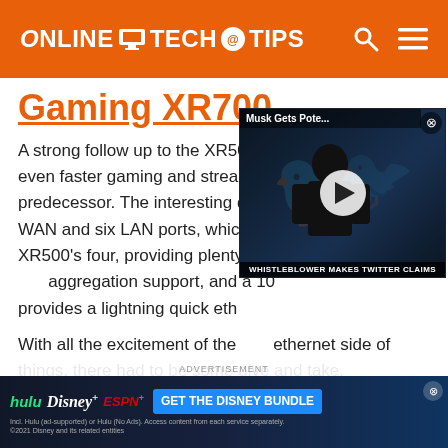ONLINE TECH TIPS
Gaming XR700
A strong follow up to the XR500, the XR700 packs an even faster gaming and streaming experience than its predecessor. The interesting design includes one WAN and six LAN ports, which is a step up from the XR500's four, providing plenty of wired connections, link aggregation support, and a 10G SFP+ port that provides a lightning quick eth
With all the excitement of the ethernet side of things, there had to be some give and take. Unfortunately, this has come at the expense of the WiFi. The XR700 does not boast the WiFi 6 capabili
[Figure (screenshot): Floating video player overlay showing 'Musk Gets Pote...' with a silhouette figure against a Twitter/bird logo background, with play button and caption 'WHISTLEBLOWER MAKES TWITTER CLAIMS']
[Figure (screenshot): Advertisement banner for Disney Bundle showing Hulu, Disney+, ESPN+ logos with 'GET THE DISNEY BUNDLE' call to action button and fine print about Hulu ad-supported or Hulu No Ads options]